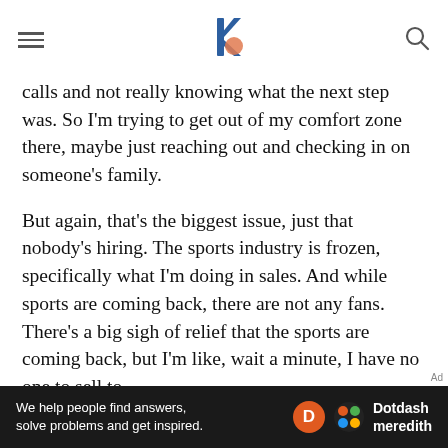Navigation header with hamburger menu, logo, and search icon
calls and not really knowing what the next step was. So I'm trying to get out of my comfort zone there, maybe just reaching out and checking in on someone's family.
But again, that's the biggest issue, just that nobody's hiring. The sports industry is frozen, specifically what I'm doing in sales. And while sports are coming back, there are not any fans. There's a big sigh of relief that the sports are coming back, but I'm like, wait a minute, I have no one to sell to.
How are you managing your time and dealing with any stress or anxiety as you
[Figure (other): Dotdash Meredith advertisement banner: dark background with text 'We help people find answers, solve problems and get inspired.' with Dotdash Meredith logo]